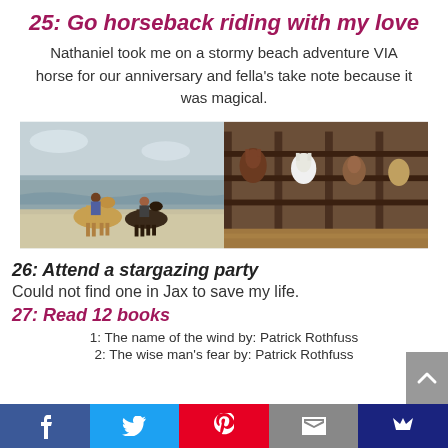25: Go horseback riding with my love
Nathaniel took me on a stormy beach adventure VIA horse for our anniversary and fella's take note because it was magical.
[Figure (photo): Two riders on horseback on a stormy beach (left); horses in wooden stable stalls (right)]
26: Attend a stargazing party
Could not find one in Jax to save my life.
27: Read 12 books
1: The name of the wind by: Patrick Rothfuss
2: The wise man's fear by: Patrick Rothfuss
f  [twitter]  [pinterest]  [email]  [crown]